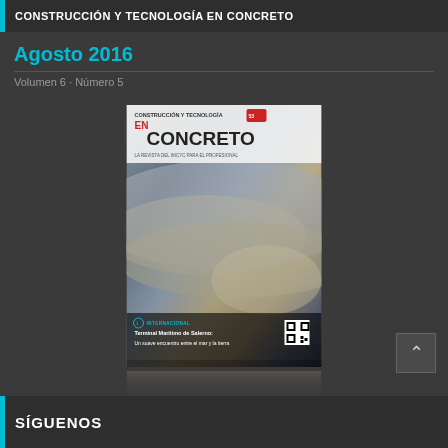CONSTRUCCIÓN Y TECNOLOGÍA EN CONCRETO
Agosto 2016
Volumen 6 · Número 5
[Figure (photo): Magazine cover of 'Construcción y Tecnología en Concreto' showing a modern concrete architectural interior with curved concrete surfaces and dramatic lighting. Cover text includes 'INTERNACIONAL - Terminal Marítimo de Salerno: Un suave encuentro entre el mar y la tierra' with a QR code.]
SÍGUENOS